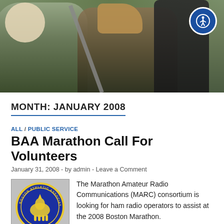[Figure (photo): Outdoor scene with people holding radio equipment and antennas, with trees in background. An accessibility button (blue circle with person icon) is visible in the top right corner.]
MONTH: JANUARY 2008
ALL / PUBLIC SERVICE
BAA Marathon Call For Volunteers
January 31, 2008  -  by admin  -  Leave a Comment
[Figure (logo): Boston Athletic Association logo — blue circular seal with yellow unicorn and text 'BOSTON ATHLETIC ASSOCIATION' around the ring.]
The Marathon Amateur Radio Communications (MARC) consortium is looking for ham radio operators to assist at the 2008 Boston Marathon. The Marathon is held annually on Patriots Day, this year that's Monday, April 21. We need people to provide